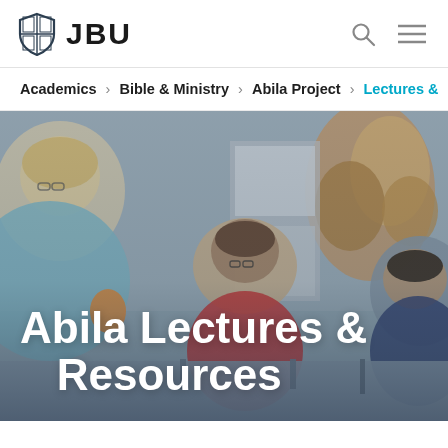JBU
Academics > Bible & Ministry > Abila Project > Lectures &
[Figure (photo): Students seated in a lecture or classroom setting viewed from behind, with a map or terrain image visible on the wall in the background. Overlaid bold white text reads 'Abila Lectures & Resources'.]
Abila Lectures & Resources